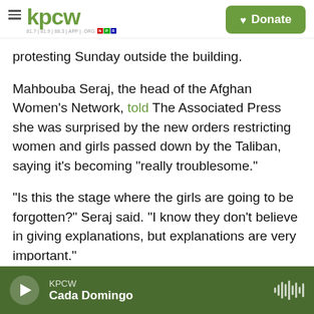KPCW — Donate
protesting Sunday outside the building.
Mahbouba Seraj, the head of the Afghan Women's Network, told The Associated Press she was surprised by the new orders restricting women and girls passed down by the Taliban, saying it's becoming "really troublesome."
"Is this the stage where the girls are going to be forgotten?" Seraj said. "I know they don't believe in giving explanations, but explanations are very important."
KPCW — Cada Domingo